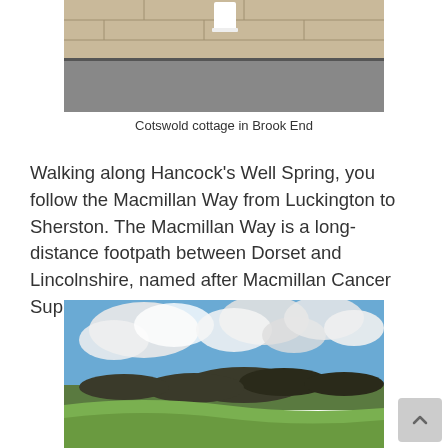[Figure (photo): Bottom portion of a Cotswold cottage in Brook End — stone wall and pavement visible]
Cotswold cottage in Brook End
Walking along Hancock's Well Spring, you follow the Macmillan Way from Luckington to Sherston. The Macmillan Way is a long-distance footpath between Dorset and Lincolnshire, named after Macmillan Cancer Support to raise money for the charity.
[Figure (photo): Countryside landscape with blue sky and white clouds, green hillside with bare winter trees and a village in the background]